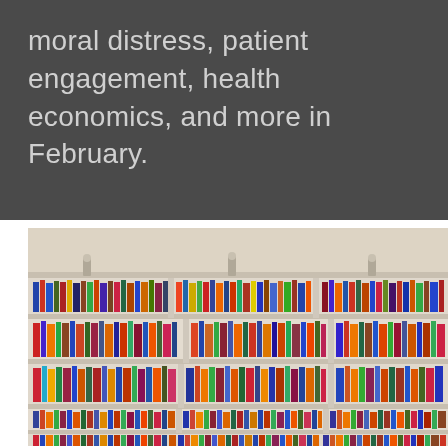moral distress, patient engagement, health economics, and more in February.
[Figure (photo): Photograph of library bookshelves filled with colorful books arranged in multiple rows]